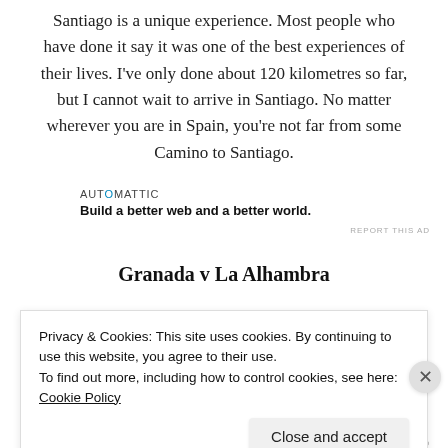Santiago is a unique experience. Most people who have done it say it was one of the best experiences of their lives. I've only done about 120 kilometres so far, but I cannot wait to arrive in Santiago. No matter wherever you are in Spain, you're not far from some Camino to Santiago.
[Figure (logo): Automattic logo with tagline: Build a better web and a better world.]
REPORT THIS AD
Granada v La Alhambra
Privacy & Cookies: This site uses cookies. By continuing to use this website, you agree to their use. To find out more, including how to control cookies, see here: Cookie Policy
Close and accept